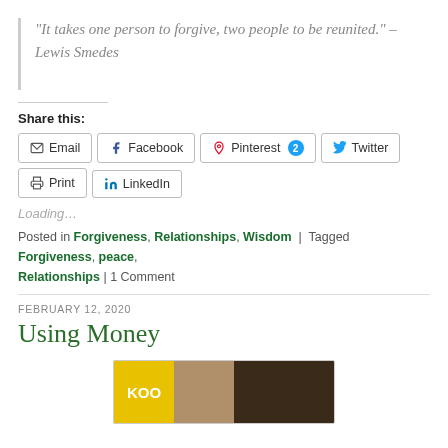“It takes one person to forgive, two people to be reunited.” – Lewis Smedes
Share this:
Email | Facebook | Pinterest 2 | Twitter | Print | LinkedIn
Loading…
Posted in Forgiveness, Relationships, Wisdom | Tagged Forgiveness, peace, Relationships | 1 Comment
FEBRUARY 12, 2020
Using Money
[Figure (photo): Photograph of grocery store shelves with KOO branded products visible on the left, other canned/packaged goods in the middle and dark toned products on the right.]